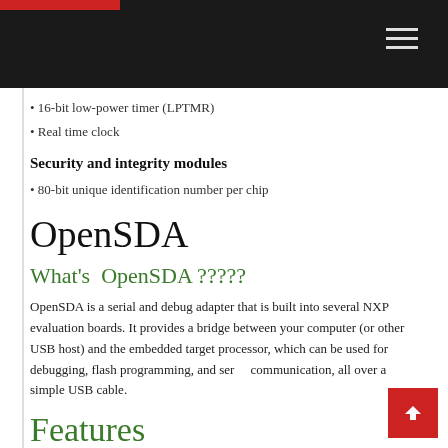16-bit low-power timer (LPTMR)
Real time clock
Security and integrity modules
80-bit unique identification number per chip
OpenSDA
What's  OpenSDA ?????
OpenSDA is a serial and debug adapter that is built into several NXP evaluation boards. It provides a bridge between your computer (or other USB host) and the embedded target processor, which can be used for debugging, flash programming, and serial communication, all over a simple USB cable.
Features